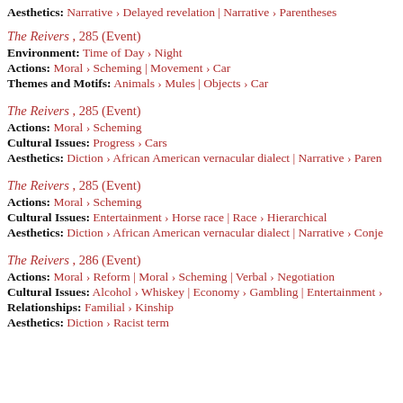Aesthetics: Narrative › Delayed revelation | Narrative › Parentheses
The Reivers , 285 (Event)
Environment: Time of Day › Night
Actions: Moral › Scheming | Movement › Car
Themes and Motifs: Animals › Mules | Objects › Car
The Reivers , 285 (Event)
Actions: Moral › Scheming
Cultural Issues: Progress › Cars
Aesthetics: Diction › African American vernacular dialect | Narrative › Paren
The Reivers , 285 (Event)
Actions: Moral › Scheming
Cultural Issues: Entertainment › Horse race | Race › Hierarchical
Aesthetics: Diction › African American vernacular dialect | Narrative › Conje
The Reivers , 286 (Event)
Actions: Moral › Reform | Moral › Scheming | Verbal › Negotiation
Cultural Issues: Alcohol › Whiskey | Economy › Gambling | Entertainment ›
Relationships: Familial › Kinship
Aesthetics: Diction › Racist term